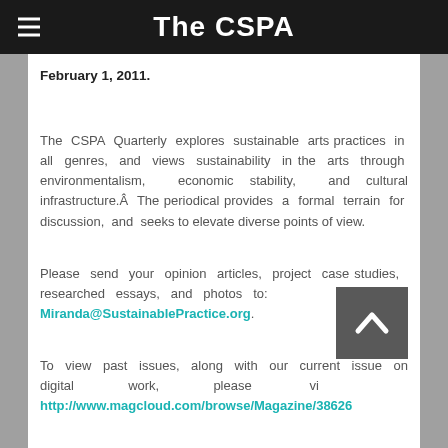The CSPA
February 1, 2011.
The CSPA Quarterly explores sustainable arts practices in all genres, and views sustainability in the arts through environmentalism, economic stability, and cultural infrastructure.Â  The periodical provides a formal terrain for discussion, and seeks to elevate diverse points of view.
Please send your opinion articles, project case studies, researched essays, and photos to: Miranda@SustainablePractice.org.
To view past issues, along with our current issue on digital work, please visit http://www.magcloud.com/browse/Magazine/38626